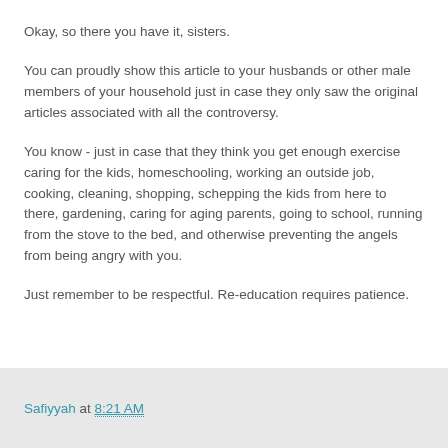Okay, so there you have it, sisters.
You can proudly show this article to your husbands or other male members of your household just in case they only saw the original articles associated with all the controversy.
You know - just in case that they think you get enough exercise caring for the kids, homeschooling, working an outside job, cooking, cleaning, shopping, schepping the kids from here to there, gardening, caring for aging parents, going to school, running from the stove to the bed, and otherwise preventing the angels from being angry with you.
Just remember to be respectful. Re-education requires patience.
Safiyyah at 8:21 AM